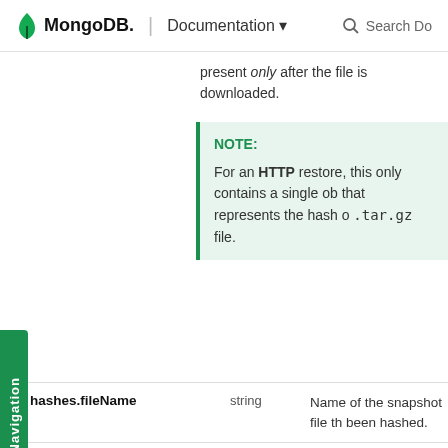MongoDB. | Documentation  Search Do
present only after the file is downloaded.
NOTE:
For an HTTP restore, this only contains a single ob that represents the hash of the .tar.gz file.
| Field | Type | Description |
| --- | --- | --- |
| hashes.fileName | string | Name of the snapshot file th been hashed. |
| hashes.hash | string | Hash of the snapshot file. |
| hashes.typeName | string | Hashing algorithm used to d |